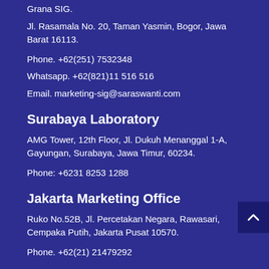Grana SIG.
Jl. Rasamala No. 20, Taman Yasmin, Bogor, Jawa Barat 16113.
Phone. +62(251) 7532348
Whatsapp. +62(821)11 516 516
Email. marketing-sig@saraswanti.com
Surabaya Laboratory
AMG Tower, 12th Floor, Jl. Dukuh Menanggal 1-A, Gayungan, Surabaya, Jawa Timur, 60234.
Phone: +6231 8253 1288
Jakarta Marketing Office
Ruko No.52B, Jl. Percetakan Negara, Rawasari, Cempaka Putih, Jakarta Pusat 10570.
Phone. +62(21) 21479292